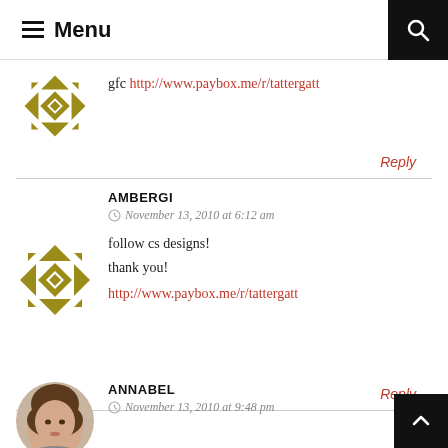Menu
gfc http://www.paybox.me/r/tattergatt
Reply
AMBERGI
November 13, 2010 at 6:12 am
follow cs designs!
thank you!
http://www.paybox.me/r/tattergatt
Reply
ANNABEL
November 13, 2010 at 9:48 pm